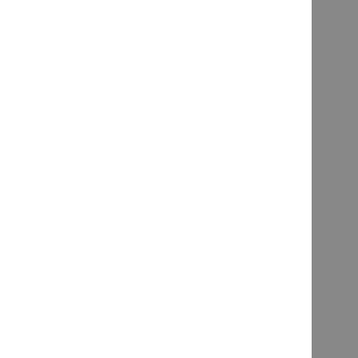Did you get the letter...
"Did you go...?"
"Dirty blouse..."
"Why do we drink so much?"
"Where is my cellphone?"
“Did you see Vira?”
"What time does the train leave
"When did you get married..."
"Where did you go last night..."
"The Next Life"
"Who broke the glass?"